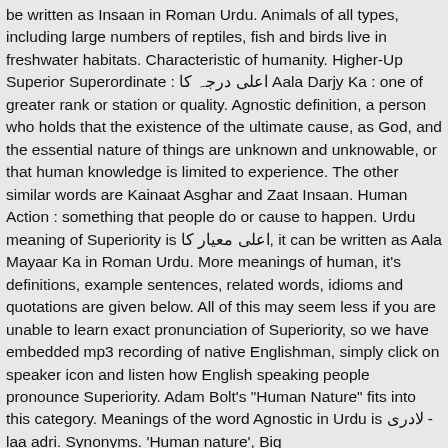be written as Insaan in Roman Urdu. Animals of all types, including large numbers of reptiles, fish and birds live in freshwater habitats. Characteristic of humanity. Higher-Up Superior Superordinate : اعلی اعلی درجہ کا Aala Darjy Ka : one of greater rank or station or quality. Agnostic definition, a person who holds that the existence of the ultimate cause, as God, and the essential nature of things are unknown and unknowable, or that human knowledge is limited to experience. The other similar words are Kainaat Asghar and Zaat Insaan. Human Action : something that people do or cause to happen. Urdu meaning of Superiority is اعلی معیار کا, it can be written as Aala Mayaar Ka in Roman Urdu. More meanings of human, it's definitions, example sentences, related words, idioms and quotations are given below. All of this may seem less if you are unable to learn exact pronunciation of Superiority, so we have embedded mp3 recording of native Englishman, simply click on speaker icon and listen how English speaking people pronounce Superiority. Adam Bolt's "Human Nature" fits into this category. Meanings of the word Agnostic in Urdu is لادری - laa adri. Synonyms. 'Human nature', Big